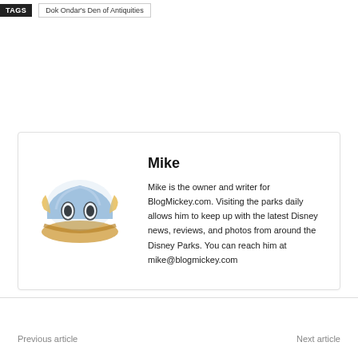TAGS  Dok Ondar's Den of Antiquities
Mike
Mike is the owner and writer for BlogMickey.com. Visiting the parks daily allows him to keep up with the latest Disney news, reviews, and photos from around the Disney Parks. You can reach him at mike@blogmickey.com
Previous article    Next article